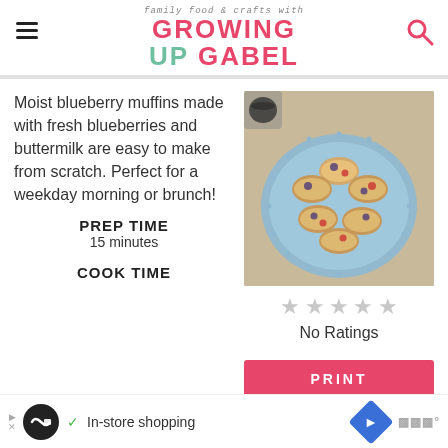family food & crafts with GROWING UP GABEL
Moist blueberry muffins made with fresh blueberries and buttermilk are easy to make from scratch. Perfect for a weekday morning or brunch!
[Figure (photo): Blueberry muffins on a blue plate, overhead view, with a coffee cup in background on burlap cloth]
No Ratings
PRINT
PREP TIME
15 minutes
COOK TIME
[Figure (other): Advertisement banner: In-store shopping]